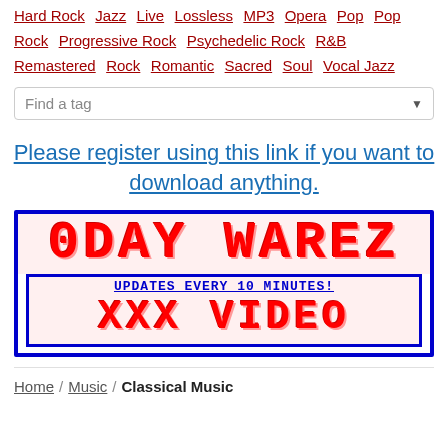Hard Rock  Jazz  Live  Lossless  MP3  Opera  Pop  Pop Rock  Progressive Rock  Psychedelic Rock  R&B  Remastered  Rock  Romantic  Sacred  Soul  Vocal Jazz
Find a tag
Please register using this link if you want to download anything.
[Figure (infographic): Banner image with text: ODAY WAREZ in large red pixel/bitmap font on pink background with blue border, UPDATES EVERY 10 MINUTES! in blue underlined text, XXX VIDEO in large red pixel font]
Home / Music / Classical Music